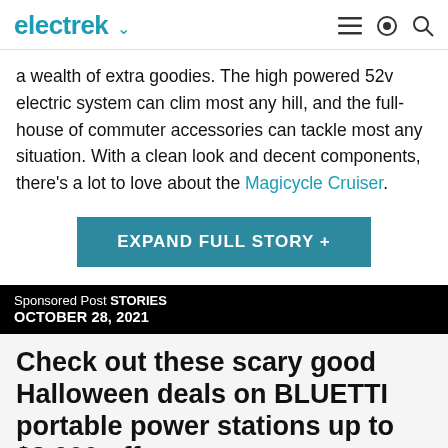electrek
a wealth of extra goodies. The high powered 52v electric system can clim most any hill, and the full-house of commuter accessories can tackle most any situation. With a clean look and decent components, there's a lot to love about the Magicycle Cruiser.
EXPAND FULL STORY +
Sponsored Post STORIES OCTOBER 28, 2021
Check out these scary good Halloween deals on BLUETTI portable power stations up to $3,900 off
Sponsored Post - Oct. 28th 2021 4:04 pm PT